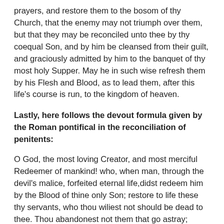prayers, and restore them to the bosom of thy Church, that the enemy may not triumph over them, but that they may be reconciled unto thee by thy coequal Son, and by him be cleansed from their guilt, and graciously admitted by him to the banquet of thy most holy Supper. May he in such wise refresh them by his Flesh and Blood, as to lead them, after this life's course is run, to the kingdom of heaven.
Lastly, here follows the devout formula given by the Roman pontifical in the reconciliation of penitents:
O God, the most loving Creator, and most merciful Redeemer of mankind! who, when man, through the devil's malice, forfeited eternal life,didst redeem him by the Blood of thine only Son; restore to life these thy servants, who thou wiliest not should be dead to thee. Thou abandonest not them that go astray; receive these that have returned to the right path. We beseech thee, O Lord, let thy mercy be moved by the tears and sighs of these thy servants; heal their wounds; stretch forth thy saving hand, and raise them up: lest thy Church be robbed of a part of her body; lest thy flock should suffer loss; lest the enemy should rejoice in the